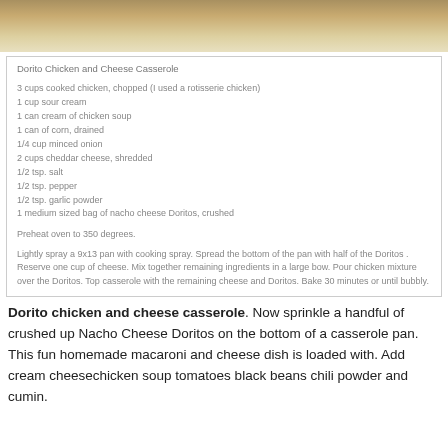[Figure (photo): Photo of food items (cheese/snack pieces) on a light background, partially cropped at top]
Dorito Chicken and Cheese Casserole
3 cups cooked chicken, chopped (I used a rotisserie chicken)
1 cup sour cream
1 can cream of chicken soup
1 can of corn, drained
1/4 cup minced onion
2 cups cheddar cheese, shredded
1/2 tsp. salt
1/2 tsp. pepper
1/2 tsp. garlic powder
1 medium sized bag of nacho cheese Doritos, crushed
Preheat oven to 350 degrees.
Lightly spray a 9x13 pan with cooking spray. Spread the bottom of the pan with half of the Doritos . Reserve one cup of cheese. Mix together remaining ingredients in a large bow. Pour chicken mixture over the Doritos. Top casserole with the remaining cheese and Doritos. Bake 30 minutes or until bubbly.
Dorito chicken and cheese casserole. Now sprinkle a handful of crushed up Nacho Cheese Doritos on the bottom of a casserole pan. This fun homemade macaroni and cheese dish is loaded with. Add cream cheesechicken soup tomatoes black beans chili powder and cumin.